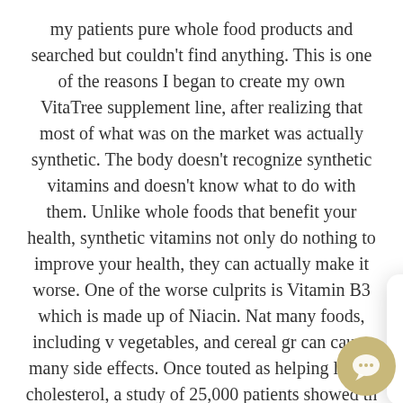my patients pure whole food products and searched but couldn't find anything. This is one of the reasons I began to create my own VitaTree supplement line, after realizing that most of what was on the market was actually synthetic. The body doesn't recognize synthetic vitamins and doesn't know what to do with them. Unlike whole foods that benefit your health, synthetic vitamins not only do nothing to improve your health, they can actually make it worse. One of the worse culprits is Vitamin B3 which is made up of Niacin. Nat[urally found in] many foods, including v[egetables,] vegetables, and cereal gr[ains...] can cause many side effects. Once touted as helping lower cholesterol, a study of 25,000 patients showed th[at it] actually increased the risk of cardiovascular dise[ase,] strokes and diabetes. Any supplement that is chemically